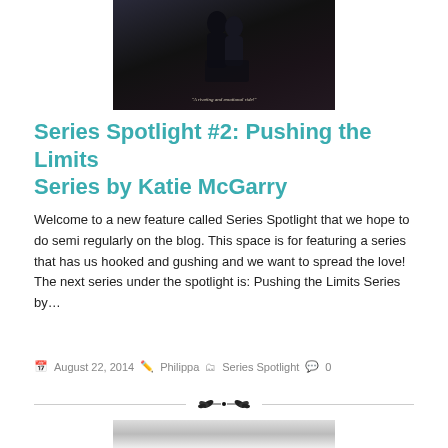[Figure (photo): Book cover image in dark tones showing silhouette figures, with pull quote text 'A riveting and emotional ride!' at the bottom]
Series Spotlight #2: Pushing the Limits Series by Katie McGarry
Welcome to a new feature called Series Spotlight that we hope to do semi regularly on the blog. This space is for featuring a series that has us hooked and gushing and we want to spread the love! The next series under the spotlight is: Pushing the Limits Series by…
Read more »
August 22, 2014   Philippa   Series Spotlight   0
[Figure (illustration): Decorative floral divider ornament with horizontal lines]
[Figure (photo): Partial book cover image at bottom of page in light/grey tones]